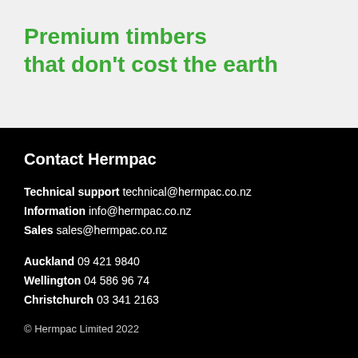Premium timbers that don't cost the earth
Contact Hermpac
Technical support technical@hermpac.co.nz
Information info@hermpac.co.nz
Sales sales@hermpac.co.nz
Auckland 09 421 9840
Wellington 04 586 96 74
Christchurch 03 341 2163
© Hermpac Limited 2022